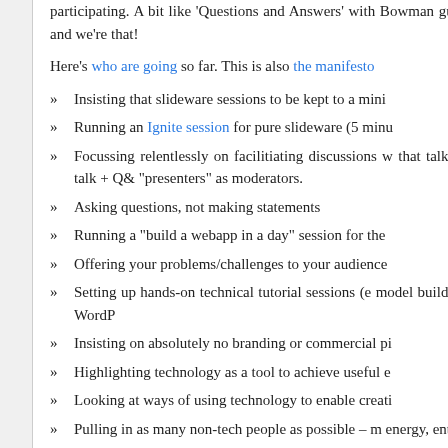participating. A bit like 'Questions and Answers' with Bowman guiding the conversation. Different and we're that!
Here's who are going so far. This is also the manifesto
Insisting that slideware sessions to be kept to a mini
Running an Ignite session for pure slideware (5 minu
Focussing relentlessly on facilitiating discussions w that talking at passive listeners. No more talk + Q& "presenters" as moderators.
Asking questions, not making statements
Running a "build a webapp in a day" session for the
Offering your problems/challenges to your audience
Setting up hands-on technical tutorial sessions (e model buildings and cities, under the hood of WordP
Insisting on absolutely no branding or commercial pi
Highlighting technology as a tool to achieve useful e
Looking at ways of using technology to enable creati
Pulling in as many non-tech people as possible – m energy, entertainment, charity
I'm going to give a few talks, though, I think more l